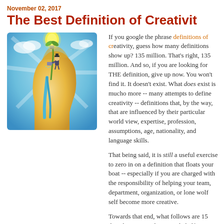November 02, 2017
The Best Definition of Creativity
[Figure (illustration): Illustration of a human head silhouette with an open top, a man watering a lightbulb growing like a plant from the head, symbolizing creativity and ideas]
If you google the phrase definitions of creativity, guess how many definitions show up? 135 million. That's right, 135 million. And so, if you are looking for THE definition, give up now. You won't find it. It doesn't exist. What does exist is mucho more -- many attempts to define creativity -- definitions that, by the way, that are influenced by their particular world view, expertise, profession, assumptions, age, nationality, and language skills.
That being said, it is still a useful exercise to zero in on a definition that floats your boat -- especially if you are charged with the responsibility of helping your team, department, organization, or lone wolf self become more creative.
Towards that end, what follows are 15 definitions I have curated on your behalf. Some are classics -- the work of people whose names you will recognize. Some are from complete unknowns. It doesn't matter in the least. What matters is your willingness to think more deeply than usual about this fascinating topic and that you find (or create) a working definition for yourself to get the party started. Ready?
Dictionary.com: "The ability to transcend traditional ideas, rules, patterns, relationships."